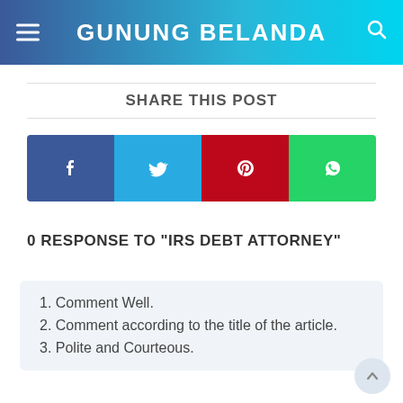GUNUNG BELANDA
SHARE THIS POST
[Figure (other): Social share buttons: Facebook (blue), Twitter (light blue), Pinterest (red), WhatsApp (green)]
0 RESPONSE TO "IRS DEBT ATTORNEY"
1. Comment Well.
2. Comment according to the title of the article.
3. Polite and Courteous.